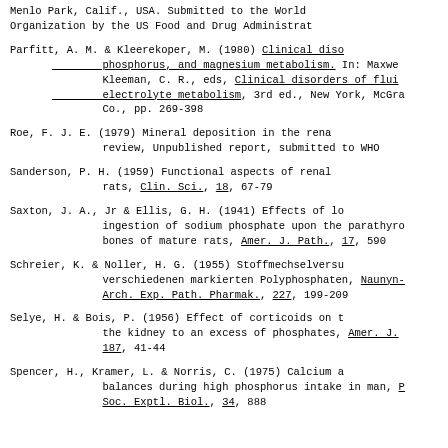Menlo Park, Calif., USA. Submitted to the World Organization by the US Food and Drug Administration
Parfitt, A. M. & Kleerekoper, M. (1980) Clinical disorders of calcium, phosphorus, and magnesium metabolism. In: Maxwell, M. G. & Kleeman, C. R., eds, Clinical disorders of fluid and electrolyte metabolism, 3rd ed., New York, McGraw-Hill Co., pp. 269-398
Roe, F. J. E. (1979) Mineral deposition in the renal review, Unpublished report, submitted to WHO
Sanderson, P. H. (1959) Functional aspects of renal calculi in rats, Clin. Sci., 18, 67-79
Saxton, J. A., Jr & Ellis, G. H. (1941) Effects of long-term ingestion of sodium phosphate upon the parathyroids and bones of mature rats, Amer. J. Path., 17, 590
Schreier, K. & Noller, H. G. (1955) Stoffmechselversuche mit verschiedenen markierten Polyphosphaten, Naunyn-Schmied. Arch. Exp. Path. Pharmak., 227, 199-209
Selye, H. & Bois, P. (1956) Effect of corticoids on the sensitivity of the kidney to an excess of phosphates, Amer. J. Physiol., 187, 41-44
Spencer, H., Kramer, L. & Norris, C. (1975) Calcium and phosphorus balances during high phosphorus intake in man, Proc. Soc. Exptl. Biol., 34, 888